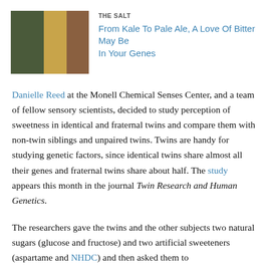[Figure (photo): Three-panel collage image showing kale, a pale ale beer glass, and food items on a table]
THE SALT
From Kale To Pale Ale, A Love Of Bitter May Be In Your Genes
Danielle Reed at the Monell Chemical Senses Center, and a team of fellow sensory scientists, decided to study perception of sweetness in identical and fraternal twins and compare them with non-twin siblings and unpaired twins. Twins are handy for studying genetic factors, since identical twins share almost all their genes and fraternal twins share about half. The study appears this month in the journal Twin Research and Human Genetics.
The researchers gave the twins and the other subjects two natural sugars (glucose and fructose) and two artificial sweeteners (aspartame and NHDC) and then asked them to